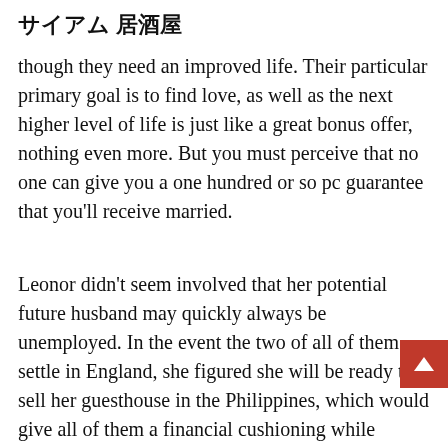サイアム 居酒屋
though they need an improved life. Their particular primary goal is to find love, as well as the next higher level of life is just like a great bonus offer, nothing even more. But you must perceive that no one can give you a one hundred or so pc guarantee that you'll receive married.
Leonor didn't seem involved that her potential future husband may quickly always be unemployed. In the event the two of all of them settle in England, she figured she will be ready to sell her guesthouse in the Philippines, which would give all of them a financial cushioning while Jonathan looks for one more job. Jonathan's smiling face on her i phone has